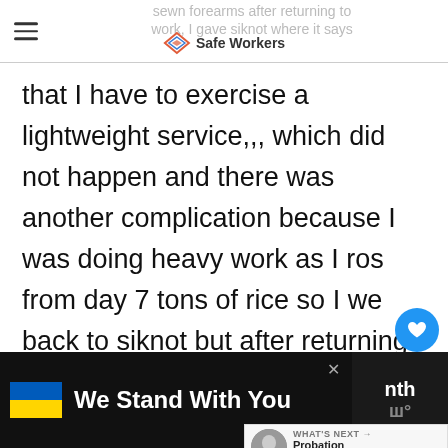sewn forearms after returning to work, I gave siknot where it says
that I have to exercise a lightweight service,,, which did not happen and there was another complication because I was doing heavy work as I ros from day 7 tons of rice so I we back to siknot but after returning to work with that you can not do the hard
We Stand With You